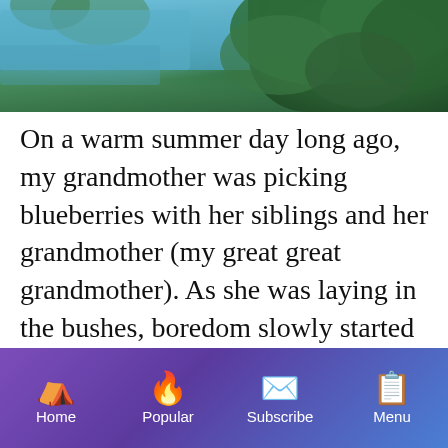[Figure (photo): Aerial or elevated view of a lake or river with surrounding green trees and forest, partial view cropped at top of page]
On a warm summer day long ago, my grandmother was picking blueberries with her siblings and her grandmother (my great great grandmother). As she was laying in the bushes, boredom slowly started to sink into her skin like the golden sun above her head. So she went to go see what her siblings were doing. When she got there she found them relaxing atop a grassy hill. Some were picking blueberries, some were eating them,
Home   Popular   Subscribe   Menu